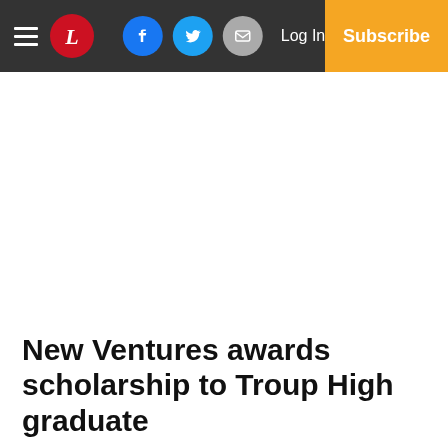L | Facebook | Twitter | Email | Log In | Subscribe
New Ventures awards scholarship to Troup High graduate